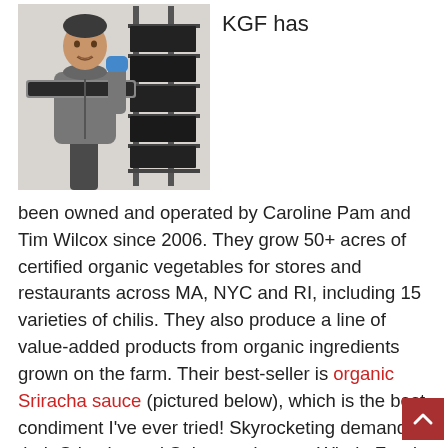[Figure (photo): A man in a grey hoodie holding a tray of dark dehydrated vegetables next to a large metal drying rack. He is wearing a blue glove on one hand.]
KGF has been owned and operated by Caroline Pam and Tim Wilcox since 2006. They grow 50+ acres of certified organic vegetables for stores and restaurants across MA, NYC and RI, including 15 varieties of chilis. They also produce a line of value-added products from organic ingredients grown on the farm. Their best-seller is organic Sriracha sauce (pictured below), which is the best condiment I've ever tried! Skyrocketing demand for their Sriracha and Salsa products at Whole Foods Market and many other natural food grocers across the